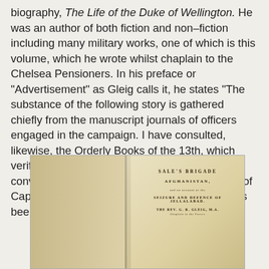biography, The Life of the Duke of Wellington. He was an author of both fiction and non-fiction including many military works, one of which is this volume, which he wrote whilst chaplain to the Chelsea Pensioners. In his preface or “Advertisement” as Gleig calls it, he states “The substance of the following story is gathered chiefly from the manuscript journals of officers engaged in the campaign. I have consulted, likewise, the Orderly Books of the 13th, which verify every statement advanced; and the conversation of various individuals, particularly of Captain Wood, Brigadier-Major at Chatham has been of infinite use to me.”
[Figure (photo): Photograph of an open old book showing a title page with the text 'SALE'S BRIGADE', 'AFGHANISTAN', 'SEIZURE AND DEFENCE OF JELLALABAD', and 'THE REV. G. R. GLEIG, M.A.' on an aged, yellowed right-hand page.]